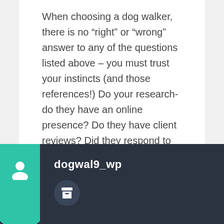When choosing a dog walker, there is no “right” or “wrong” answer to any of the questions listed above – you must trust your instincts (and those references!) Do your research- do they have an online presence? Do they have client reviews? Did they respond to your inquiry/request within 24 hours? When thinking about cost vs. service, reflect on the quality of service you will receive depending on the experience and professionalism of the type of dog walker you decide to hire.
dogwal9_wp